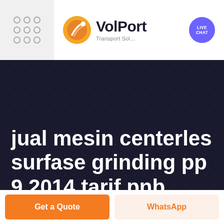[Figure (logo): VolPort Transport Solutions logo with orange/red circular icon and dark text, plus a purple Live Chat badge on a white banner header with a gray left panel containing a 3x3 grid of circles]
jual mesin centerles surfase grinding pp 9 2014 tarif pnb
[Figure (other): Get a Quote orange button and WhatsApp light orange button side by side at the bottom]